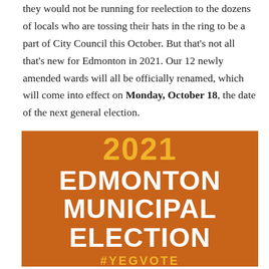they would not be running for reelection to the dozens of locals who are tossing their hats in the ring to be a part of City Council this October. But that's not all that's new for Edmonton in 2021. Our 12 newly amended wards will all be officially renamed, which will come into effect on Monday, October 18, the date of the next general election.
[Figure (infographic): Orange background graphic with '2021' in yellow at top, then 'EDMONTON MUNICIPAL ELECTION' in large white bold text, and '#YEGVOTE' in yellow at the bottom.]